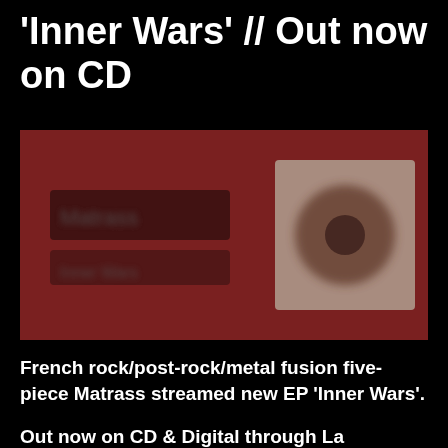'Inner Wars' // Out now on CD
[Figure (photo): Album promotional banner with dark red background showing blurred band name text on the left and a blurred CD album cover image on the right]
French rock/post-rock/metal fusion five-piece Matrass streamed new EP 'Inner Wars'.
Out now on CD & Digital through La Tangente Label.